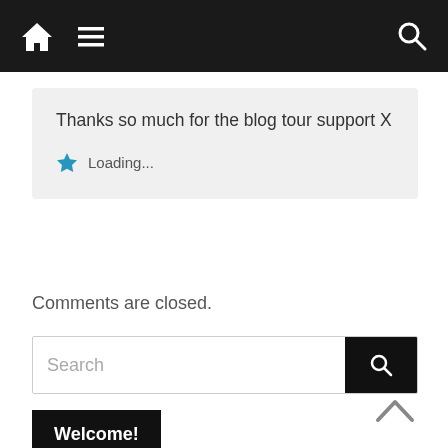[Figure (screenshot): Mobile website navigation bar with home icon, hamburger menu icon on left, and search icon on right, dark background]
Thanks so much for the blog tour support X
★ Loading...
Comments are closed.
[Figure (screenshot): Search input box with placeholder text 'Search' and a black search button on the right]
Welcome!
[Figure (photo): Partial photo of a blonde woman, cropped at the top of a blog sidebar]